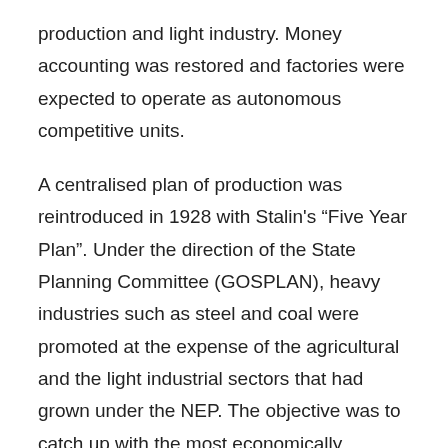production and light industry. Money accounting was restored and factories were expected to operate as autonomous competitive units.
A centralised plan of production was reintroduced in 1928 with Stalin's “Five Year Plan”. Under the direction of the State Planning Committee (GOSPLAN), heavy industries such as steel and coal were promoted at the expense of the agricultural and the light industrial sectors that had grown under the NEP. The objective was to catch up with the most economically advanced and industrially advanced nations. Significantly, all banking, lending and investment decisions were directed through the state bank. Although agriculture was forcibly “re-collectivised”, grain production still stagnated and there was widespread famine in the early 1930s.